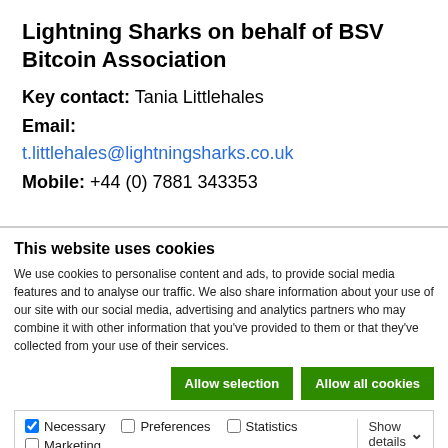Lightning Sharks on behalf of BSV Bitcoin Association
Key contact: Tania Littlehales
Email:
t.littlehales@lightningsharks.co.uk
Mobile: +44 (0) 7881 343353
This website uses cookies
We use cookies to personalise content and ads, to provide social media features and to analyse our traffic. We also share information about your use of our site with our social media, advertising and analytics partners who may combine it with other information that you've provided to them or that they've collected from your use of their services.
Allow selection | Allow all cookies
Necessary | Preferences | Statistics | Marketing | Show details